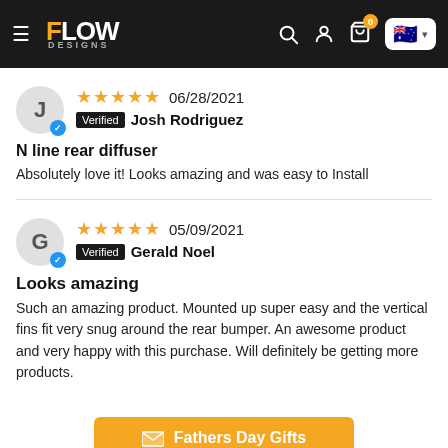Flow Designs — Navigation header with logo, search, account, cart (0), and Australia flag selector
★★★★★ 06/28/2021 Verified Josh Rodriguez
N line rear diffuser
Absolutely love it! Looks amazing and was easy to Install
★★★★★ 05/09/2021 Verified Gerald Noel
Looks amazing
Such an amazing product. Mounted up super easy and the vertical fins fit very snug around the rear bumper. An awesome product and very happy with this purchase. Will definitely be getting more products.
Fathers Day Gifts